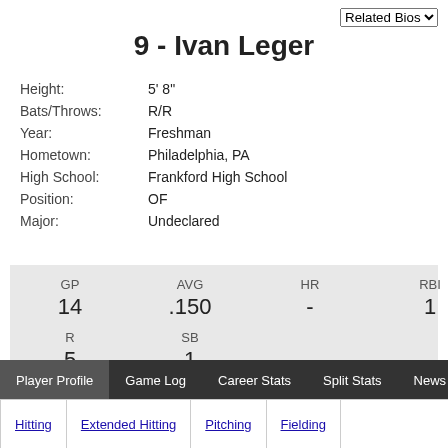Related Bios
9 - Ivan Leger
| Field | Value |
| --- | --- |
| Height: | 5' 8" |
| Bats/Throws: | R/R |
| Year: | Freshman |
| Hometown: | Philadelphia, PA |
| High School: | Frankford High School |
| Position: | OF |
| Major: | Undeclared |
| GP | AVG | HR | RBI | R | SB |
| --- | --- | --- | --- | --- | --- |
| 14 | .150 | - | 1 | 5 | 1 |
Player Profile | Game Log | Career Stats | Split Stats | News
Hitting | Extended Hitting | Pitching | Fielding